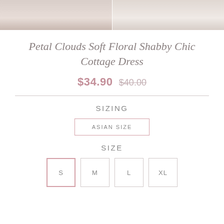[Figure (photo): Two product photos of a floral dress, side by side, partially cropped at the top of the page]
Petal Clouds Soft Floral Shabby Chic Cottage Dress
$34.90 $40.00
SIZING
ASIAN SIZE
SIZE
S  M  L  XL